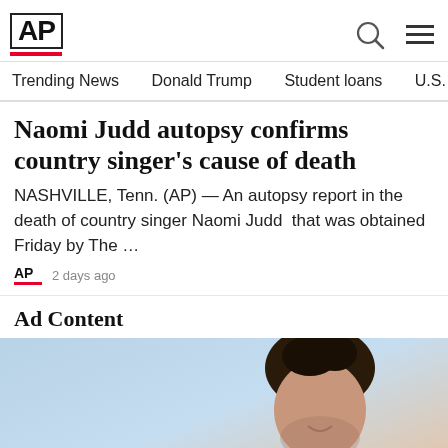AP
Trending News
Donald Trump
Student loans
U.S. Open Tenn
Naomi Judd autopsy confirms country singer's cause of death
NASHVILLE, Tenn. (AP) — An autopsy report in the death of country singer Naomi Judd  that was obtained Friday by The ...
2 days ago
Ad Content
[Figure (photo): Man smiling, looking at a device, advertisement image with light blue and warm background]